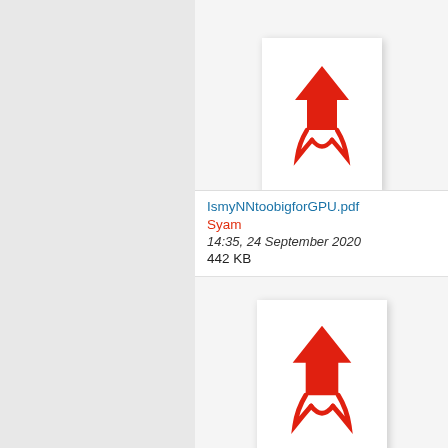[Figure (screenshot): PDF file thumbnail (partially visible at top) for IsmyNNtoobigforGPU.pdf showing Adobe Acrobat PDF icon]
IsmyNNtoobigforGPU.pdf
Syam
14:35, 24 September 2020
442 KB
[Figure (screenshot): PDF file thumbnail for 'How to Use C++ Paralle...' showing Adobe Acrobat PDF icon]
How to Use C++ Paralle...
Syam
14:08, 14 September 2020
1.31 MB
[Figure (screenshot): PDF file thumbnail (partially visible at bottom) showing Adobe Acrobat PDF icon]